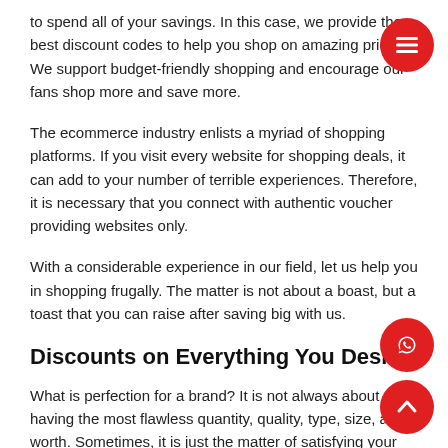to spend all of your savings. In this case, we provide the best discount codes to help you shop on amazing prices. We support budget-friendly shopping and encourage our fans shop more and save more.
The ecommerce industry enlists a myriad of shopping platforms. If you visit every website for shopping deals, it can add to your number of terrible experiences. Therefore, it is necessary that you connect with authentic voucher providing websites only.
With a considerable experience in our field, let us help you in shopping frugally. The matter is not about a boast, but a toast that you can raise after saving big with us.
Discounts on Everything You Desire
What is perfection for a brand? It is not always about having the most flawless quantity, quality, type, size, and worth. Sometimes, it is just the matter of satisfying your customers who are ready to shop no matter what. This store knows how to attract new customers. It is popular for the attractive number of revisits.